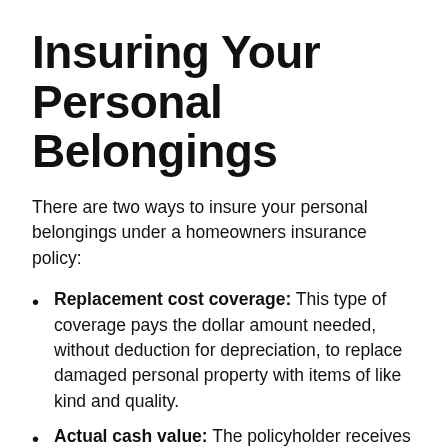Insuring Your Personal Belongings
There are two ways to insure your personal belongings under a homeowners insurance policy:
Replacement cost coverage: This type of coverage pays the dollar amount needed, without deduction for depreciation, to replace damaged personal property with items of like kind and quality.
Actual cash value: The policyholder receives the replacement value of damaged property minus depreciation. Coverage is for real cash value